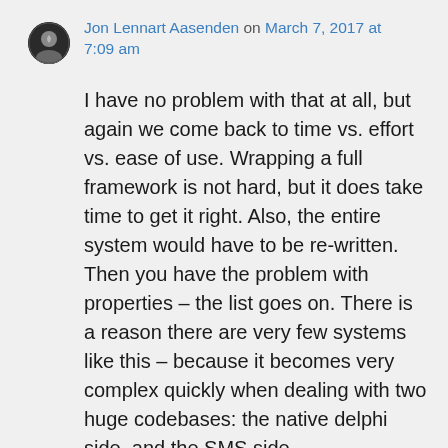Jon Lennart Aasenden on March 7, 2017 at 7:09 am
I have no problem with that at all, but again we come back to time vs. effort vs. ease of use. Wrapping a full framework is not hard, but it does take time to get it right. Also, the entire system would have to be re-written. Then you have the problem with properties – the list goes on. There is a reason there are very few systems like this – because it becomes very complex quickly when dealing with two huge codebases: the native delphi side, and the SMS side.
And I like the grid! Nothing wrong with that.